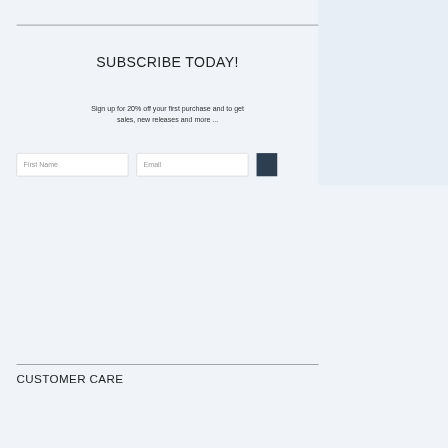SUBSCRIBE TODAY!
Sign up for 20% off your first purchase and to get sales, new releases and more ...
[Figure (screenshot): Newsletter signup form with First Name and Email input fields and a dark submit button]
[Figure (screenshot): Right panel overlay showing 20% off promotion with First Name and Email address fields, fine print about marketing emails with Privacy Policy link, and a CONTINUE button]
CUSTOMER CARE